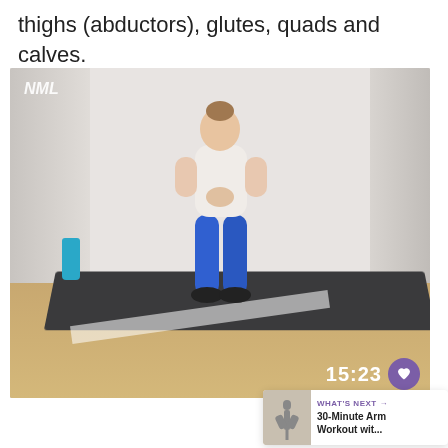thighs (abductors), glutes, quads and calves.
[Figure (photo): Fitness video screenshot showing a woman in a wide stance wearing blue leggings and a white crop top, standing on a dark exercise mat in a studio with wood-tone floors and white brick walls. A teal water bottle is on the mat. A video timer '15:23' and a heart icon appear in the lower right. The NML logo is in the upper left.]
24
[Figure (infographic): Share button icon with arrow and plus symbol]
WHAT'S NEXT → 30-Minute Arm Workout wit...